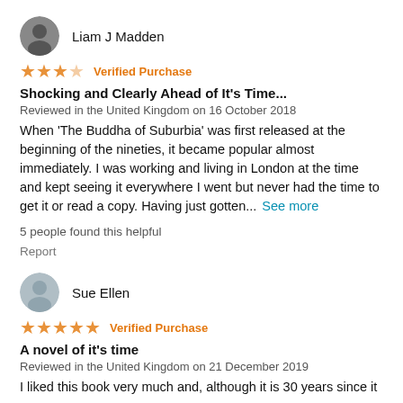Liam J Madden
★★★☆ Verified Purchase
Shocking and Clearly Ahead of It's Time...
Reviewed in the United Kingdom on 16 October 2018
When 'The Buddha of Suburbia' was first released at the beginning of the nineties, it became popular almost immediately. I was working and living in London at the time and kept seeing it everywhere I went but never had the time to get it or read a copy. Having just gotten... See more
5 people found this helpful
Report
Sue Ellen
★★★★★ Verified Purchase
A novel of it's time
Reviewed in the United Kingdom on 21 December 2019
I liked this book very much and, although it is 30 years since it